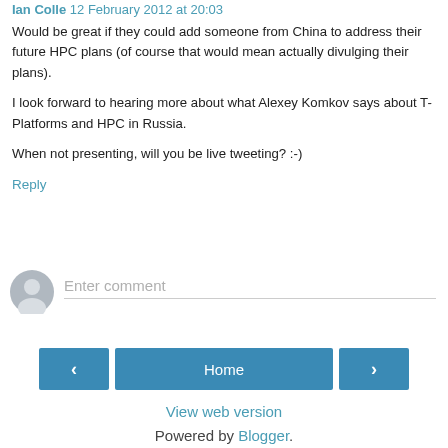Ian Colle 12 February 2012 at 20:03
Would be great if they could add someone from China to address their future HPC plans (of course that would mean actually divulging their plans).

I look forward to hearing more about what Alexey Komkov says about T-Platforms and HPC in Russia.

When not presenting, will you be live tweeting? :-)
Reply
[Figure (other): User avatar placeholder circle with silhouette icon]
Enter comment
Home
View web version
Powered by Blogger.